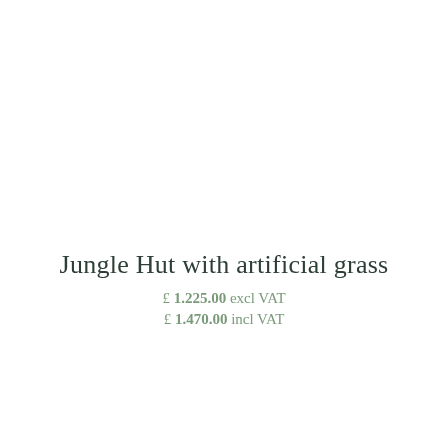Jungle Hut with artificial grass
£ 1.225.00 excl VAT
£ 1.470.00 incl VAT